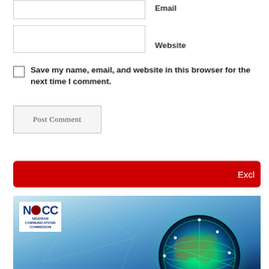Email
Website
Save my name, email, and website in this browser for the next time I comment.
Post Comment
[Figure (infographic): Red banner with text 'Excl' visible on the right side]
[Figure (logo): NCC - Nigerian Communications Commission logo on a blue globe/network background image]